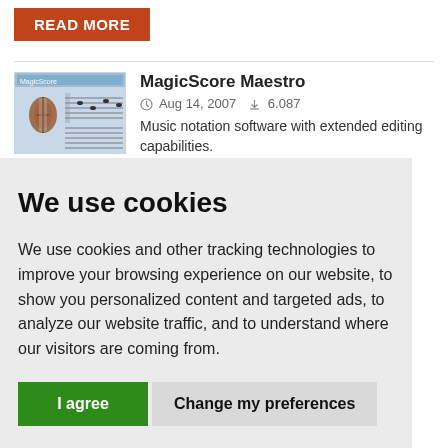READ MORE
[Figure (screenshot): Thumbnail screenshot of MagicScore Maestro software showing music notation interface with violin graphic]
MagicScore Maestro
Aug 14, 2007   6.087
Music notation software with extended editing capabilities.
We use cookies
We use cookies and other tracking technologies to improve your browsing experience on our website, to show you personalized content and targeted ads, to analyze our website traffic, and to understand where our visitors are coming from.
I agree
Change my preferences